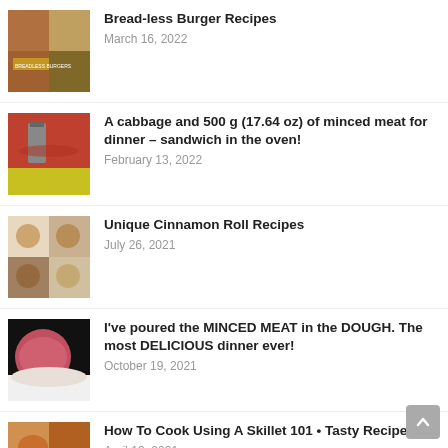Bread-less Burger Recipes
March 16, 2022
A cabbage and 500 g (17.64 oz) of minced meat for dinner – sandwich in the oven!
February 13, 2022
Unique Cinnamon Roll Recipes
July 26, 2021
I've poured the MINCED MEAT in the DOUGH. The most DELICIOUS dinner ever!
October 19, 2021
How To Cook Using A Skillet 101 • Tasty Recipes
April 13, 2021